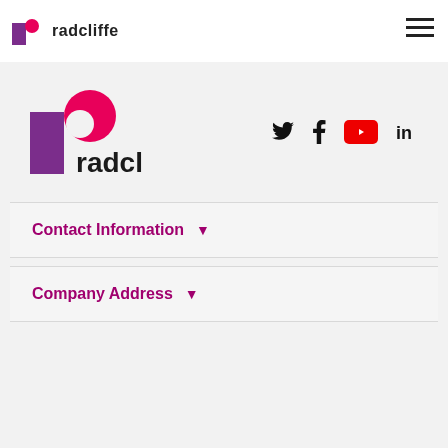[Figure (logo): Radcliffe logo small: pink/purple 'r' icon and 'radcliffe' text in nav bar]
[Figure (logo): Radcliffe logo large: purple rectangle with pink circle forming 'r' shape, 'radcliffe' text beside it]
[Figure (infographic): Social media icons: Twitter bird, Facebook f, YouTube red button, LinkedIn in]
Contact Information
Company Address